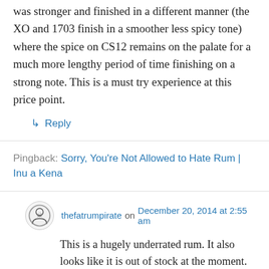was stronger and finished in a different manner (the XO and 1703 finish in a smoother less spicy tone) where the spice on CS12 remains on the palate for a much more lengthy period of time finishing on a strong note. This is a must try experience at this price point.
↳ Reply
Pingback: Sorry, You're Not Allowed to Hate Rum | Inu a Kena
thefatrumpirate on December 20, 2014 at 2:55 am
This is a hugely underrated rum. It also looks like it is out of stock at the moment. I've contacted Cockspur regarding this as it has all but